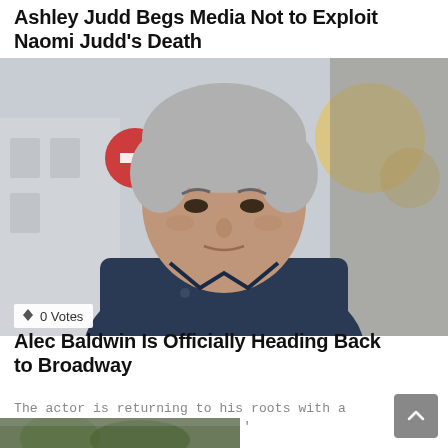Ashley Judd Begs Media Not to Exploit Naomi Judd’s Death
[Figure (photo): Middle-aged man with grey hair wearing a dark blue jacket, looking at camera, outdoor blurred background]
⇳ 0 Votes
Alec Baldwin Is Officially Heading Back to Broadway
The actor is returning to his roots with a Broadway performance of ‘Art.’
[Figure (photo): Partial bottom image, outdoor scene with green foliage]